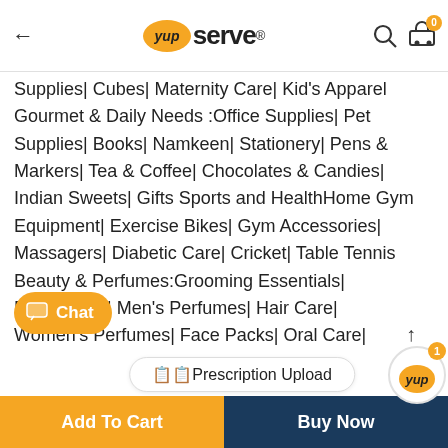← yup serve® [search] [cart 0]
Supplies| Cubes| Maternity Care| Kid's Apparel Gourmet & Daily Needs :Office Supplies| Pet Supplies| Books| Namkeen| Stationery| Pens & Markers| Tea & Coffee| Chocolates & Candies| Indian Sweets| Gifts Sports and HealthHome Gym Equipment| Exercise Bikes| Gym Accessories| Massagers| Diabetic Care| Cricket| Table Tennis Beauty & Perfumes:Grooming Essentials| Deodorants| Men's Perfumes| Hair Care| Women's Perfumes| Face Packs| Oral Care| Care| Value Combo| Women's Hygiene | Indian Saree| Indian Traditional Saree| Ethinic Saree| Sambalpuri Saree| Cotton Sar...
Chat
📋Prescription Upload
Add To Cart
Buy Now